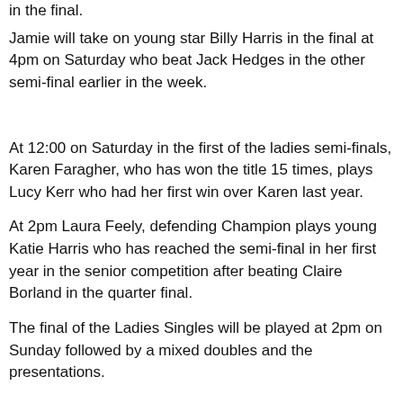in the final.
Jamie will take on young star Billy Harris in the final at 4pm on Saturday who beat Jack Hedges in the other semi-final earlier in the week.
At 12:00 on Saturday in the first of the ladies semi-finals, Karen Faragher, who has won the title 15 times, plays Lucy Kerr who had her first win over Karen last year.
At 2pm Laura Feely, defending Champion plays young Katie Harris who has reached the semi-final in her first year in the senior competition after beating Claire Borland in the quarter final.
The final of the Ladies Singles will be played at 2pm on Sunday followed by a mixed doubles and the presentations.